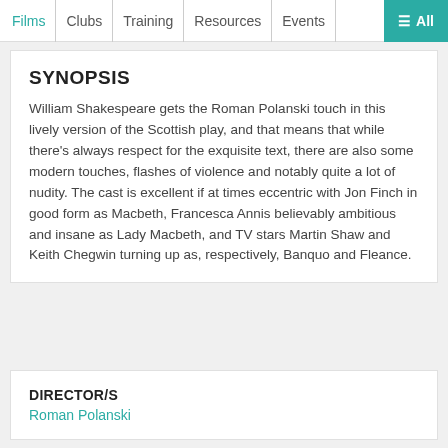Films | Clubs | Training | Resources | Events | ≡ All
SYNOPSIS
William Shakespeare gets the Roman Polanski touch in this lively version of the Scottish play, and that means that while there's always respect for the exquisite text, there are also some modern touches, flashes of violence and notably quite a lot of nudity. The cast is excellent if at times eccentric with Jon Finch in good form as Macbeth, Francesca Annis believably ambitious and insane as Lady Macbeth, and TV stars Martin Shaw and Keith Chegwin turning up as, respectively, Banquo and Fleance.
DIRECTOR/S
Roman Polanski